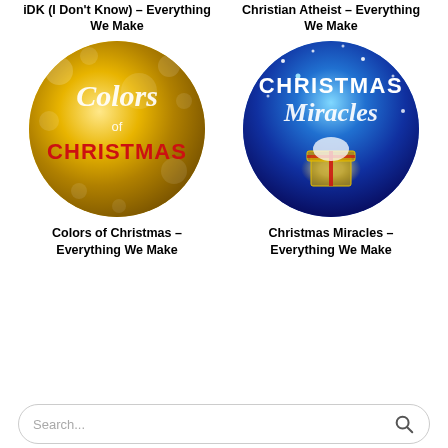iDK (I Don't Know) – Everything We Make
Christian Atheist – Everything We Make
[Figure (illustration): Circular album art for 'Colors of Christmas' – gold bokeh background with script 'Colors of' text and bold red 'CHRISTMAS' text]
[Figure (illustration): Circular album art for 'Christmas Miracles' – blue starry background with white 'CHRISTMAS' text, script 'Miracles' text, and glowing open box with red ribbon]
Colors of Christmas – Everything We Make
Christmas Miracles – Everything We Make